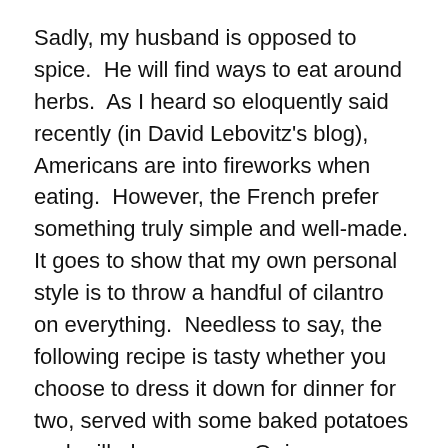Sadly, my husband is opposed to spice.  He will find ways to eat around herbs.  As I heard so eloquently said recently (in David Lebovitz's blog), Americans are into fireworks when eating.  However, the French prefer something truly simple and well-made. It goes to show that my own personal style is to throw a handful of cilantro on everything.  Needless to say, the following recipe is tasty whether you choose to dress it down for dinner for two, served with some baked potatoes and grilled sausages.  Or in my case, incorporate some chopped ginger, garam masala, creme fraiche and a handful of cilantro for lunch!
Compromise be gone!
Lentils for one and all (or 8 people)
1 ½ Cup Green Lentils, soaked for several hours or